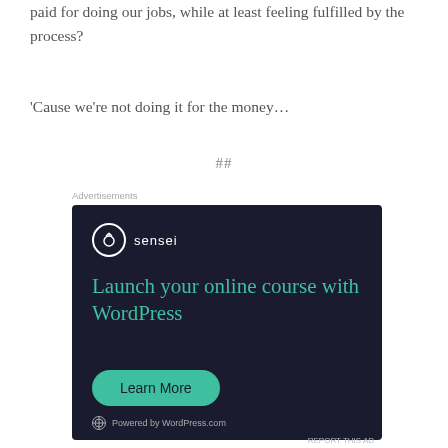paid for doing our jobs, while at least feeling fulfilled by the process?
‘Cause we’re not doing it for the money…
##
Advertisements
[Figure (other): Sensei advertisement banner with dark background. Shows Sensei logo (circle with tree icon and 'sensei' text), headline 'Launch your online course with WordPress' in teal, a 'Learn More' teal button, and 'Powered by WordPress.com' footer with WordPress logo.]